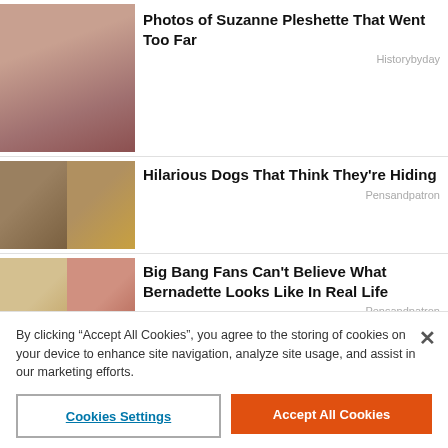[Figure (photo): Photo of Suzanne Pleshette, woman with dark short hair]
Photos of Suzanne Pleshette That Went Too Far
Historybyday
[Figure (photo): Two photos of dogs hiding]
Hilarious Dogs That Think They're Hiding
Pensandpatron
[Figure (photo): Two photos of Bernadette actress with and without glasses]
Big Bang Fans Can't Believe What Bernadette Looks Like In Real Life
Pensandpatron
[Figure (photo): Two photos of actress from JAG]
Remember Mac From JAG? This Is Her Now
Drivepedia
[Figure (photo): Two photos of Steven Tyler]
Steven Tyler Finally Confirms the Rumors
By clicking "Accept All Cookies", you agree to the storing of cookies on your device to enhance site navigation, analyze site usage, and assist in our marketing efforts.
Cookies Settings
Accept All Cookies